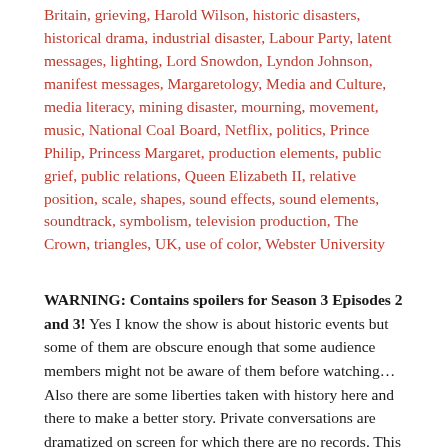Britain, grieving, Harold Wilson, historic disasters, historical drama, industrial disaster, Labour Party, latent messages, lighting, Lord Snowdon, Lyndon Johnson, manifest messages, Margaretology, Media and Culture, media literacy, mining disaster, mourning, movement, music, National Coal Board, Netflix, politics, Prince Philip, Princess Margaret, production elements, public grief, public relations, Queen Elizabeth II, relative position, scale, shapes, sound effects, sound elements, soundtrack, symbolism, television production, The Crown, triangles, UK, use of color, Webster University
WARNING: Contains spoilers for Season 3 Episodes 2 and 3! Yes I know the show is about historic events but some of them are obscure enough that some audience members might not be aware of them before watching… Also there are some liberties taken with history here and there to make a better story. Private conversations are dramatized on screen for which there are no records. This goes for every historical drama that I have ever taken the time to analyze, so I think it's important to use them as